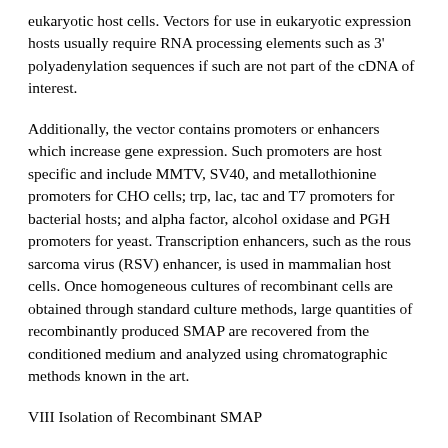eukaryotic host cells. Vectors for use in eukaryotic expression hosts usually require RNA processing elements such as 3' polyadenylation sequences if such are not part of the cDNA of interest.
Additionally, the vector contains promoters or enhancers which increase gene expression. Such promoters are host specific and include MMTV, SV40, and metallothionine promoters for CHO cells; trp, lac, tac and T7 promoters for bacterial hosts; and alpha factor, alcohol oxidase and PGH promoters for yeast. Transcription enhancers, such as the rous sarcoma virus (RSV) enhancer, is used in mammalian host cells. Once homogeneous cultures of recombinant cells are obtained through standard culture methods, large quantities of recombinantly produced SMAP are recovered from the conditioned medium and analyzed using chromatographic methods known in the art.
VIII Isolation of Recombinant SMAP
SMAP is expressed as a chimeric protein with one or more additional polypeptide domains added to facilitate protein purification. Such purification-facilitating domains include, but are not limited to, metal chelating peptides such as histidine-tryptophan modules that allow purification on immobilized metals, protein A domains that allow purification on immobilized